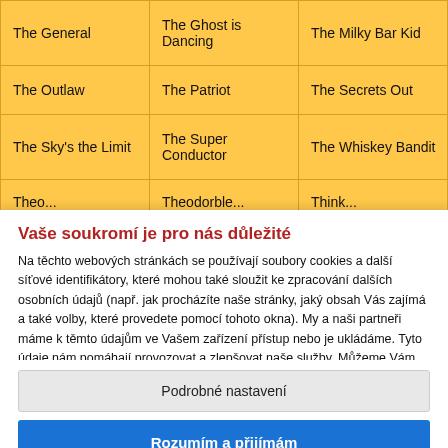| The General | The Ghost is Dancing | The Milky Bar Kid |
| The Outlaw | The Patriot | The Secrets Out |
| The Sky's the Limit | The Super Conductor | The Whiskey Bandit |
| Theo... | Theodorble... | Think... |
Vaše soukromí je pro nás důležité
Na těchto webových stránkách se používají soubory cookies a další síťové identifikátory, které mohou také sloužit ke zpracování dalších osobních údajů (např. jak procházíte naše stránky, jaký obsah Vás zajímá a také volby, které provedete pomocí tohoto okna). My a naši partneři máme k těmto údajům ve Vašem zařízení přístup nebo je ukládáme. Tyto údaje nám pomáhají provozovat a zlepšovat naše služby. Můžeme Vám také...
Podrobné nastavení
Rozumím a přijímám